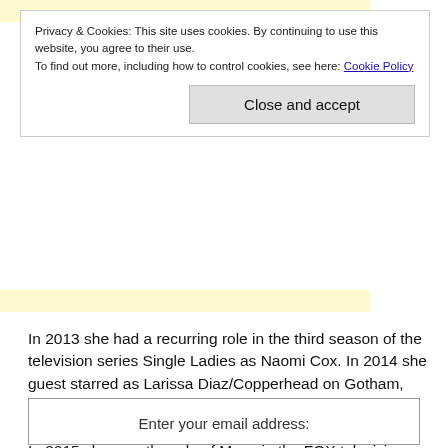Privacy & Cookies: This site uses cookies. By continuing to use this website, you agree to their use.
To find out more, including how to control cookies, see here: Cookie Policy
Close and accept
In 2013 she had a recurring role in the third season of the television series Single Ladies as Naomi Cox. In 2014 she guest starred as Larissa Diaz/Copperhead on Gotham, and appeared as the recurring character Lamia in The Librarians
In 2015 she won the role of Maze in the FOX television series Lucifer, who was originally played by actress Lina Esco but was recast after the first table read.
Enter your email address: